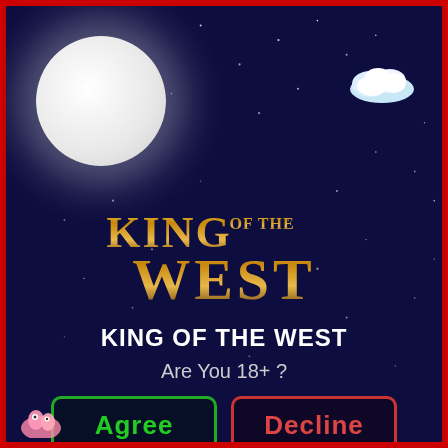[Figure (screenshot): Age verification screen for 'King of the West' game. Dark navy background with stars, large white moon in upper-left, decorative cloud upper-right, stylized gold western-style logo, game title text, age question, and Agree/Decline buttons.]
KING OF THE WEST
Are You 18+ ?
Agree
Decline